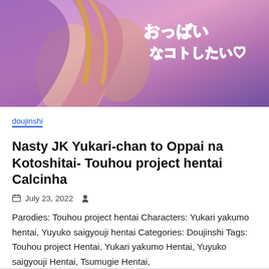[Figure (illustration): Anime/manga style banner image with Japanese text overlay on pink/purple background]
doujinshi
Nasty JK Yukari-chan to Oppai na Kotoshitai- Touhou project hentai Calcinha
July 23, 2022
Parodies: Touhou project hentai Characters: Yukari yakumo hentai, Yuyuko saigyouji hentai Categories: Doujinshi Tags: Touhou project Hentai, Yukari yakumo Hentai, Yuyuko saigyouji Hentai, Tsumugie Hentai,
View Hentai